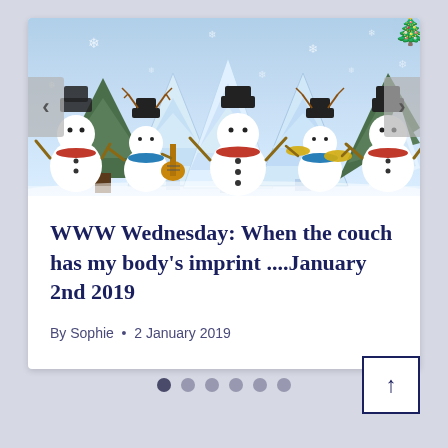[Figure (illustration): Christmas winter scene with animated snowmen dancing and playing instruments, decorative paper/origami-style white and light blue Christmas trees, snow-covered background with falling snowflakes. Left and right navigation arrows on sides.]
WWW Wednesday: When the couch has my body's imprint ....January 2nd 2019
By Sophie  •  2 January 2019